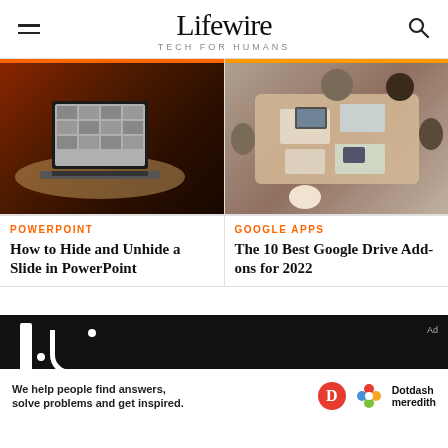Lifewire — TECH FOR HUMANS
[Figure (photo): Laptop on a round table with presentation slides on screen, dark background]
[Figure (photo): Overhead view of people working at a table with laptops and tablets]
POWERPOINT
How to Hide and Unhide a Slide in PowerPoint
GOOGLE APPS
The 10 Best Google Drive Add-ons for 2022
We help people find answers, solve problems and get inspired. Dotdash meredith